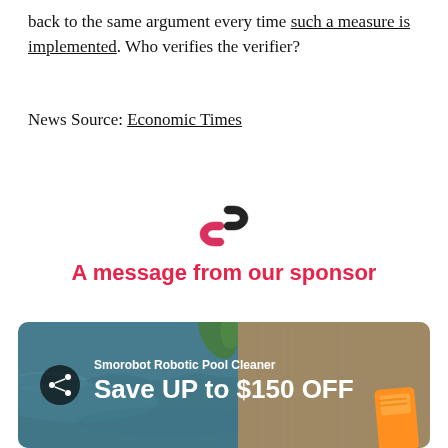back to the same argument every time such a measure is implemented. Who verifies the verifier?
News Source: Economic Times
[Figure (illustration): Two interlocking chain link rings icon in red and dark/black colors, representing a hyperlink or connection symbol.]
A message from our sponsor
[Figure (photo): Advertisement banner for Smorobot Robotic Pool Cleaner showing a pool background on the left and wooden surface with orange device on the right. Text reads: Smorobot Robotic Pool Cleaner, Save UP to $150 OFF. A share icon button is on the left side of the banner.]